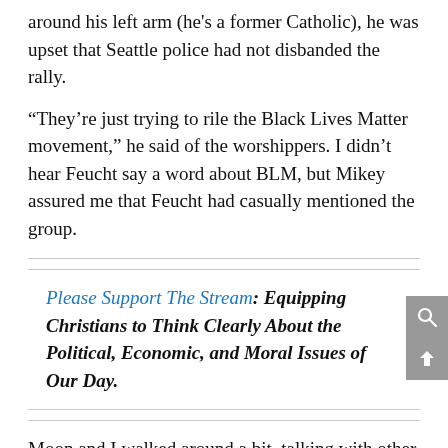around his left arm (he's a former Catholic), he was upset that Seattle police had not disbanded the rally.
“They’re just trying to rile the Black Lives Matter movement,” he said of the worshippers. I didn’t hear Feucht say a word about BLM, but Mikey assured me that Feucht had casually mentioned the group.
Please Support The Stream: Equipping Christians to Think Clearly About the Political, Economic, and Moral Issues of Our Day.
Moon and I walked around a bit, talking with other homeless in the park. Other than the “Hail Satan” gu all these folks appeared to be white millennials who were furious that the Christians were invading their